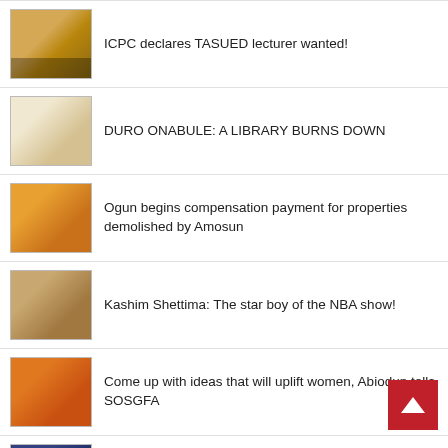ICPC declares TASUED lecturer wanted!
DURO ONABULE: A LIBRARY BURNS DOWN
Ogun begins compensation payment for properties demolished by Amosun
Kashim Shettima: The star boy of the NBA show!
Come up with ideas that will uplift women, Abiodun tells SOSGFA
Abiodun swears in seven new commissioners, deputy chief of staff
Abiodun approves 2019 promotion, appointment for MAPOLY staff